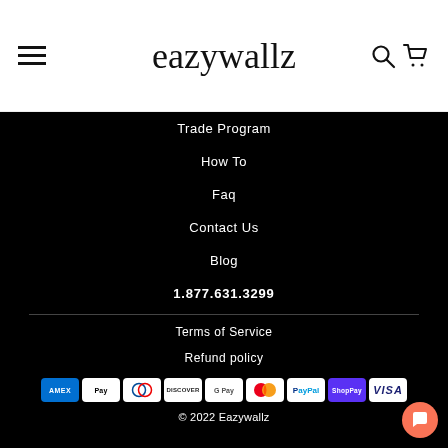eazywallz
Trade Program
How To
Faq
Contact Us
Blog
1.877.631.3299
Terms of Service
Refund policy
[Figure (other): Payment method icons: American Express, Apple Pay, Diners Club, Discover, Google Pay, Mastercard, PayPal, Shop Pay, Visa]
© 2022 Eazywallz